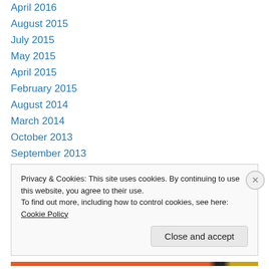April 2016
August 2015
July 2015
May 2015
April 2015
February 2015
August 2014
March 2014
October 2013
September 2013
August 2013
June 2013
May 2013
Privacy & Cookies: This site uses cookies. By continuing to use this website, you agree to their use.
To find out more, including how to control cookies, see here: Cookie Policy